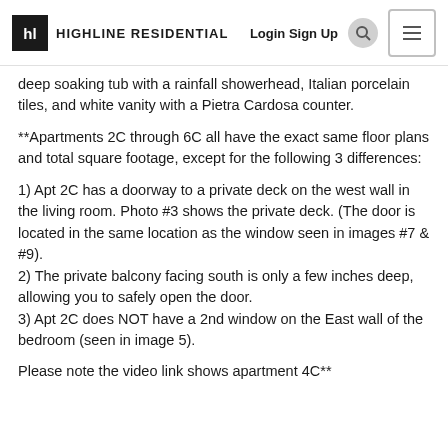HL HIGHLINE RESIDENTIAL  Login Sign Up
deep soaking tub with a rainfall showerhead, Italian porcelain tiles, and white vanity with a Pietra Cardosa counter.
**Apartments 2C through 6C all have the exact same floor plans and total square footage, except for the following 3 differences:
1) Apt 2C has a doorway to a private deck on the west wall in the living room. Photo #3 shows the private deck. (The door is located in the same location as the window seen in images #7 & #9).
2) The private balcony facing south is only a few inches deep, allowing you to safely open the door.
3) Apt 2C does NOT have a 2nd window on the East wall of the bedroom (seen in image 5).
Please note the video link shows apartment 4C**